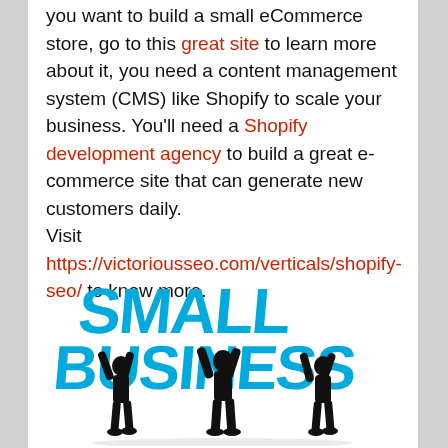you want to build a small eCommerce store, go to this great site to learn more about it, you need a content management system (CMS) like Shopify to scale your business. You'll need a Shopify development agency to build a great e-commerce site that can generate new customers daily. Visit https://victoriousseo.com/verticals/shopify-seo/ to know more.
[Figure (illustration): Three black silhouette figures holding up large cyan/blue 3D block letters spelling SMALL BUSINESS above their heads]